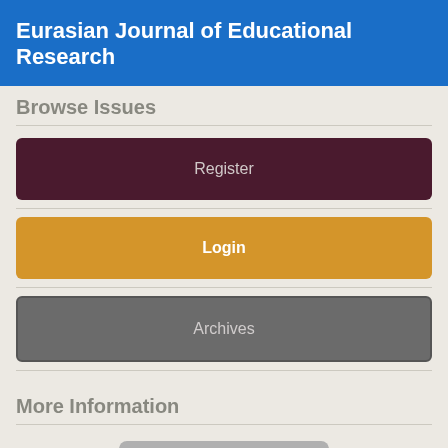Eurasian Journal of Educational Research
Browse Issues
Register
Login
Archives
More Information
[Figure (logo): Creative Commons CC BY license badge showing CC and information (i) icons in circles on a grey rounded rectangle background]